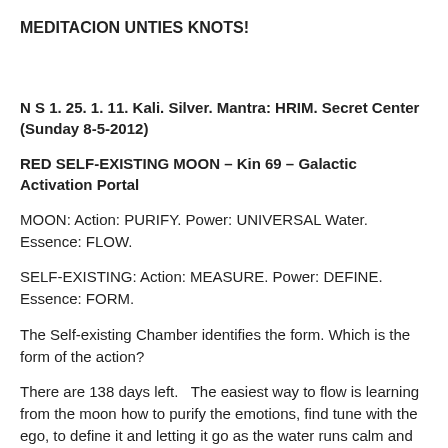MEDITACION UNTIES KNOTS!
N S 1. 25. 1. 11. Kali. Silver. Mantra: HRIM. Secret Center (Sunday 8-5-2012)
RED SELF-EXISTING MOON – Kin 69 – Galactic Activation Portal
MOON: Action: PURIFY. Power: UNIVERSAL Water. Essence: FLOW.
SELF-EXISTING: Action: MEASURE. Power: DEFINE. Essence: FORM.
The Self-existing Chamber identifies the form. Which is the form of the action?
There are 138 days left.   The easiest way to flow is learning from the moon how to purify the emotions, find tune with the ego, to define it and letting it go as the water runs calm and clear in a